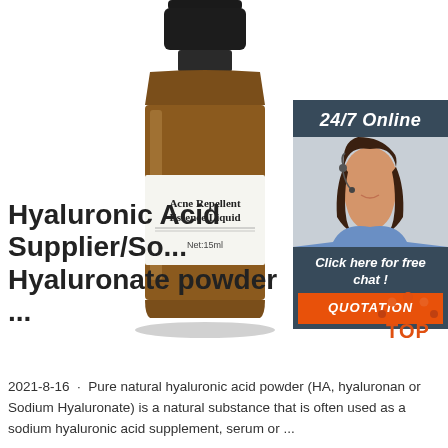[Figure (photo): Amber glass dropper bottle labeled 'Acne Repellent Essence Liquid Net:15ml']
[Figure (photo): Customer service representative with headset, 24/7 Online sidebar panel with 'Click here for free chat!' and QUOTATION button]
Hyaluronic Acid Supplier/So... Hyaluronate powder ...
2021-8-16 · Pure natural hyaluronic acid powder (HA, hyaluronan or Sodium Hyaluronate) is a natural substance that is often used as a sodium hyaluronic acid supplement, serum or ...
[Figure (logo): TOP badge logo in orange and red dots]